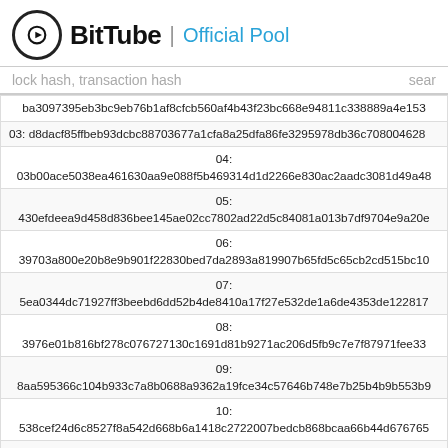BitTube | Official Pool
lock hash, transaction hash    sear
| ba3097395eb3bc9eb76b1af8cfcb560af4b43f23bc668e94811c338889a4e153 |
| 03: d8dacf85ffbeb93dcbc88703677a1cfa8a25dfa86fe3295978db36c708004628 |
| 04:
03b00ace5038ea461630aa9e088f5b469314d1d2266e830ac2aadc3081d49a48 |
| 05:
430efdeea9d458d836bee145ae02cc7802ad22d5c84081a013b7df9704e9a20e |
| 06:
39703a800e20b8e9b901f22830bed7da2893a819907b65fd5c65cb2cd515bc10 |
| 07:
5ea0344dc71927ff3beebd6dd52b4de8410a17f27e532de1a6de4353de122817 |
| 08:
3976e01b816bf278c076727130c1691d81b9271ac206d5fb9c7e7f87971fee33 |
| 09:
8aa595366c104b933c7a8b0688a9362a19fce34c57646b748e7b25b4b9b553b9 |
| 10:
538cef24d6c8527f8a542d668b6a1418c2722007bedcb868bcaa66b44d676765 |
| 11: fbfdcbeac2fa9076600ad29fa0062d7adc4a106f64727cc3a0fb40af155b1a55 |
| 12:
62f5a1c123e435477772a34aa43e9989817841cf911a67e9494f26a62a2e9c98 |
| 13:
bf5eea3941584e79477b60bffaabed66e9ae4096acafcf0be4e9a1bb21763a37 |